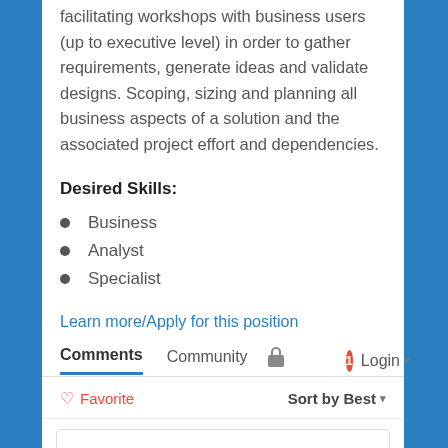facilitating workshops with business users (up to executive level) in order to gather requirements, generate ideas and validate designs. Scoping, sizing and planning all business aspects of a solution and the associated project effort and dependencies.
Desired Skills:
Business
Analyst
Specialist
Learn more/Apply for this position
Comments   Community   [lock]   [1] Login
♡ Favorite   Sort by Best
Start the discussion…